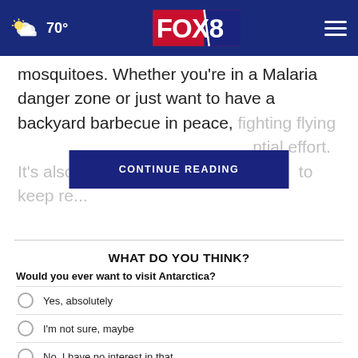70° FOX 8
mosquitoes. Whether you're in a Malaria danger zone or just want to have a backyard barbecue in peace, fighting flying [CONTINUE READING] ntial effort. It's also not al to keep re...
WHAT DO YOU THINK?
Would you ever want to visit Antarctica?
Yes, absolutely
I'm not sure, maybe
No, I have no interest in that
Other / Does not apply